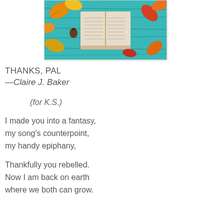[Figure (photo): An open book surrounded by autumn leaves on a teal/turquoise wooden surface. The book pages are worn and the leaves are orange, yellow, and red fall colors.]
THANKS, PAL
—Claire J. Baker
(for K.S.)
I made you into a fantasy,
my song's counterpoint,
my handy epiphany,

Thankfully you rebelled.
Now I am back on earth
where we both can grow.